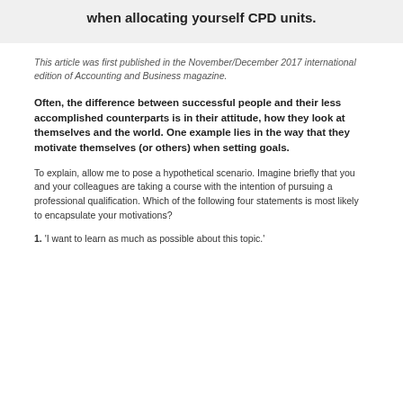when allocating yourself CPD units.
This article was first published in the November/December 2017 international edition of Accounting and Business magazine.
Often, the difference between successful people and their less accomplished counterparts is in their attitude, how they look at themselves and the world. One example lies in the way that they motivate themselves (or others) when setting goals.
To explain, allow me to pose a hypothetical scenario. Imagine briefly that you and your colleagues are taking a course with the intention of pursuing a professional qualification. Which of the following four statements is most likely to encapsulate your motivations?
1. 'I want to learn as much as possible about this topic.'